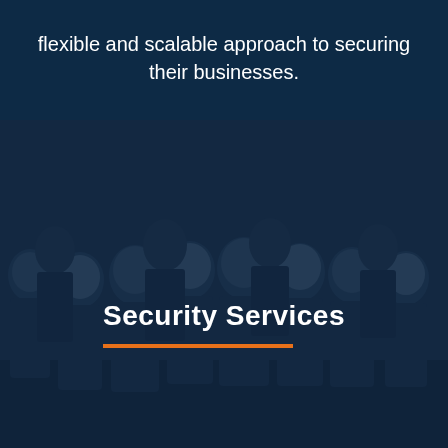flexible and scalable approach to securing their businesses.
[Figure (photo): Group photo of approximately 10 security officers in uniform, overlaid with a dark navy blue tint. The group is smiling and posing together.]
Security Services